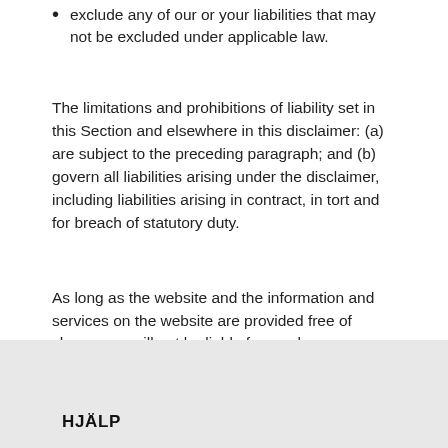exclude any of our or your liabilities that may not be excluded under applicable law.
The limitations and prohibitions of liability set in this Section and elsewhere in this disclaimer: (a) are subject to the preceding paragraph; and (b) govern all liabilities arising under the disclaimer, including liabilities arising in contract, in tort and for breach of statutory duty.
As long as the website and the information and services on the website are provided free of charge, we will not be liable for any loss or damage of any nature.
HJÄLP